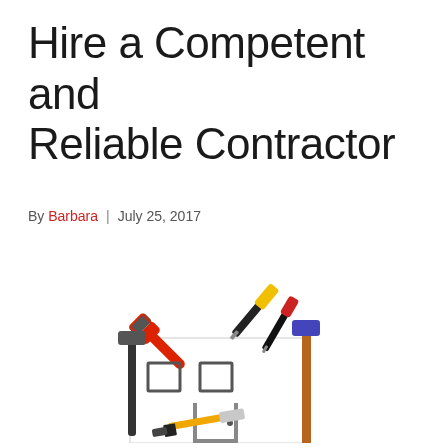Hire a Competent and Reliable Contractor
By Barbara | July 25, 2017
[Figure (photo): A house shape formed by various tools on a white background: a red pipe wrench, a yellow screwdriver, a black screwdriver, a hammer, a wooden-handled mallet/hammer, a paintbrush, and a metal square forming the walls and door, with two small square windows sketched in the interior.]